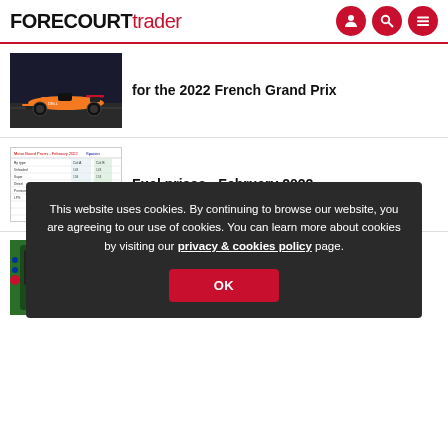FORECOURTtrader
[Figure (photo): F1 racing car (McLaren) on track]
for the 2022 French Grand Prix
[Figure (table-as-image): Fuel prices table - February 2022]
Fuel prices - February 2022
This website uses cookies. By continuing to browse our website, you are agreeing to our use of cookies. You can learn more about cookies by visiting our privacy & cookies policy page.
OK